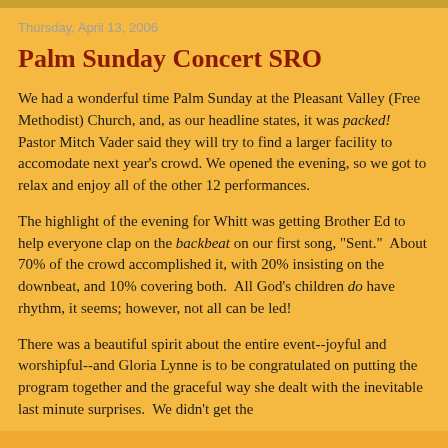Thursday, April 13, 2006
Palm Sunday Concert SRO
We had a wonderful time Palm Sunday at the Pleasant Valley (Free Methodist) Church, and, as our headline states, it was packed!  Pastor Mitch Vader said they will try to find a larger facility to accomodate next year's crowd. We opened the evening, so we got to relax and enjoy all of the other 12 performances.
The highlight of the evening for Whitt was getting Brother Ed to help everyone clap on the backbeat on our first song, "Sent."  About 70% of the crowd accomplished it, with 20% insisting on the downbeat, and 10% covering both.  All God's children do have rhythm, it seems; however, not all can be led!
There was a beautiful spirit about the entire event--joyful and worshipful--and Gloria Lynne is to be congratulated on putting the program together and the graceful way she dealt with the inevitable last minute surprises.  We didn't get the